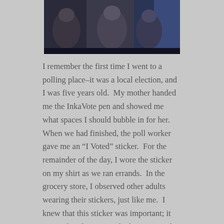[Figure (photo): A dark photograph showing people, appears to be a debate or event setting with blue lighting visible on the right side.]
I remember the first time I went to a polling place–it was a local election, and I was five years old.  My mother handed me the InkaVote pen and showed me what spaces I should bubble in for her.  When we had finished, the poll worker gave me an “I Voted” sticker.  For the remainder of the day, I wore the sticker on my shirt as we ran errands.  In the grocery store, I observed other adults wearing their stickers, just like me.  I knew that this sticker was important; it meant that the wearers had participated in something greater than themselves, and that they had made their voices heard.  I could not wait until I was old enough to vote for myself.  It was invigorating and I wanted to be a part of it.